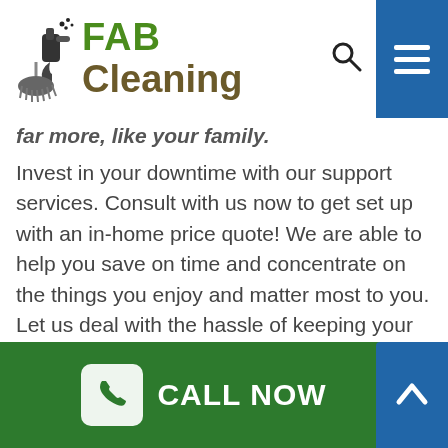FAB Cleaning
far more, like your family.
Invest in your downtime with our support services. Consult with us now to get set up with an in-home price quote! We are able to help you save on time and concentrate on the things you enjoy and matter most to you. Let us deal with the hassle of keeping your home clean:
You have far better things to do! Contact House Cleaning Melbourne now!
CALL NOW